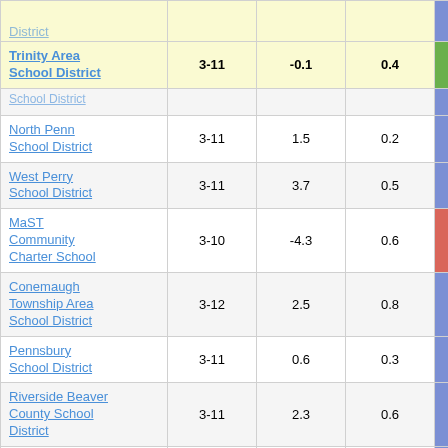| School District | Grades | Col3 | Col4 | Score |
| --- | --- | --- | --- | --- |
| Trinity Area School District | 3-11 | -0.1 | 0.4 | -0.26 |
| [partial row above] |  |  |  |  |
| North Penn School District | 3-11 | 1.5 | 0.2 | 6.31 |
| West Perry School District | 3-11 | 3.7 | 0.5 | 7.43 |
| MaST Community Charter School | 3-10 | -4.3 | 0.6 | -7.06 |
| Conemaugh Township Area School District | 3-12 | 2.5 | 0.8 | 3.18 |
| Pennsbury School District | 3-11 | 0.6 | 0.3 | 2.44 |
| Riverside Beaver County School District | 3-11 | 2.3 | 0.6 | 3.62 |